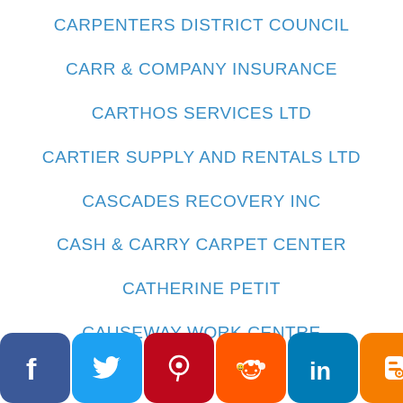CARPENTERS DISTRICT COUNCIL
CARR & COMPANY INSURANCE
CARTHOS SERVICES LTD
CARTIER SUPPLY AND RENTALS LTD
CASCADES RECOVERY INC
CASH & CARRY CARPET CENTER
CATHERINE PETIT
CAUSEWAY WORK CENTRE
[Figure (infographic): Social media sharing icons row: Facebook (blue), Twitter (light blue), Pinterest (dark red), Reddit (orange), LinkedIn (blue), Blogger (orange), Add/Plus (dark blue). Partially visible text 'AMS' to the right.]